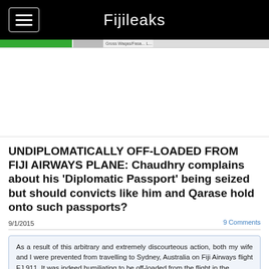Fijileaks
[Figure (screenshot): Navigation strip with green bar and browser toolbar elements]
[Figure (other): Advertisement or image placeholder block (white/blank)]
UNDIPLOMATICALLY OFF-LOADED FROM FIJI AIRWAYS PLANE: Chaudhry complains about his 'Diplomatic Passport' being seized but should convicts like him and Qarase hold onto such passports?
9/1/2015
9 Comments
As a result of this arbitrary and extremely discourteous action, both my wife and I were prevented from travelling to Sydney, Australia on Fiji Airways flight FJ 911. It was indeed humiliating to be off-loaded from the flight in the